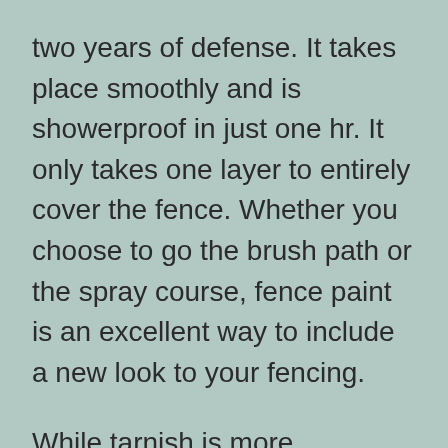two years of defense. It takes place smoothly and is showerproof in just one hr. It only takes one layer to entirely cover the fence. Whether you choose to go the brush path or the spray course, fence paint is an excellent way to include a new look to your fencing.
While tarnish is more economical than paint, it can require more frequent securing. It may likewise call for two layers to attain the desired look. The disadvantage of stain is that it will certainly not show wear as readily as paint. Furthermore, a stain will not limit the wood's capacity to take a breath, which is vital for its